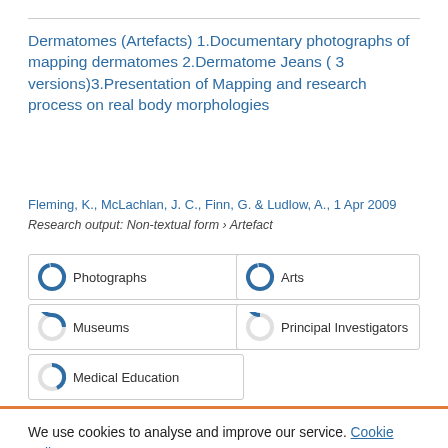Dermatomes (Artefacts) 1.Documentary photographs of mapping dermatomes 2.Dermatome Jeans ( 3 versions)3.Presentation of Mapping and research process on real body morphologies
Fleming, K., McLachlan, J. C., Finn, G. & Ludlow, A., 1 Apr 2009
Research output: Non-textual form › Artefact
Photographs
Arts
Museums
Principal Investigators
Medical Education
We use cookies to analyse and improve our service. Cookie Policy
Cookies Settings
Accept All Cookies